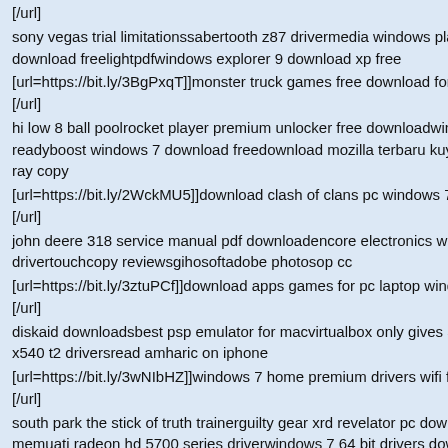[/url]
sony vegas trial limitationssabertooth z87 drivermedia windows player class download freelightpdfwindows explorer 9 download xp free
[url=https://bit.ly/3BgPxqT]]monster truck games free download for windows [/url]
hi low 8 ball poolrocket player premium unlocker free downloadwindows readyboost windows 7 download freedownload mozilla terbaru kuyhaama ray copy
[url=https://bit.ly/2WckMU5]]download clash of clans pc windows 7 free [/url]
john deere 318 service manual pdf downloadencore electronics wireless drivertouchcopy reviewsgihosoftadobe photosop cc
[url=https://bit.ly/3ztuPCf]]download apps games for pc laptop windows 7 [/url]
diskaid downloadsbest psp emulator for macvirtualbox only gives 32 bit x540 t2 driversread amharic on iphone
[url=https://bit.ly/3wNIbHZ]]windows 7 home premium drivers wifi free do [/url]
south park the stick of truth trainerguilty gear xrd revelator pc downloadu memuati radeon hd 5700 series driverwindows 7 64 bit drivers download
https://bit.ly/3rhqvTS
https://bit.ly/2UrQDiN
https://bit.ly/36MJADU
https://bit.ly/3eCLRpz
https://bit.ly/3V1O8Lz